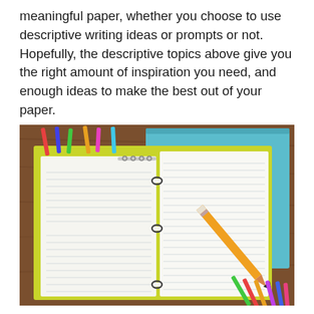meaningful paper, whether you choose to use descriptive writing ideas or prompts or not. Hopefully, the descriptive topics above give you the right amount of inspiration you need, and enough ideas to make the best out of your paper.
[Figure (photo): An open ring-bound notebook with blank lined pages, a yellow pencil resting diagonally across the right page, placed on top of yellow and teal notebooks, surrounded by colorful pencils and colored pencils on a wooden surface.]